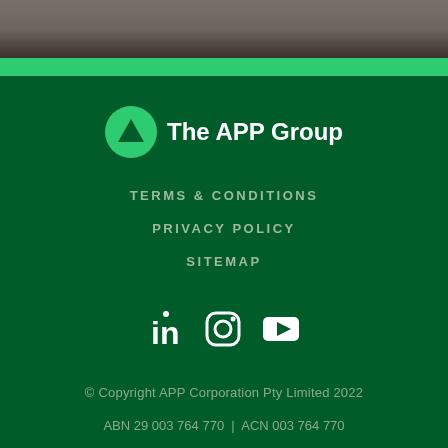[Figure (photo): Blurred photo background at top of page]
[Figure (logo): The APP Group logo - green circle with white triangle/play icon and white text 'The APP Group']
TERMS & CONDITIONS
PRIVACY POLICY
SITEMAP
[Figure (illustration): Social media icons: LinkedIn, Instagram, YouTube]
© Copyright APP Corporation Pty Limited 2022
ABN 29 003 764 770 | ACN 003 764 770